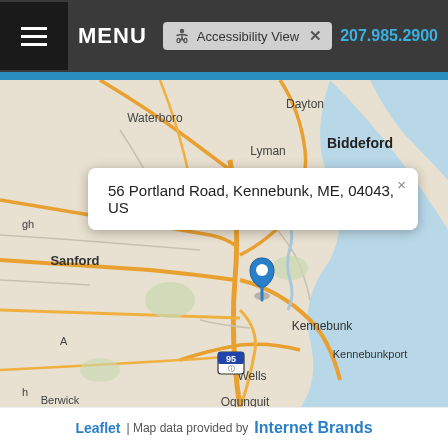MENU | Accessibility View | 207.985.2900
[Figure (map): Interactive map showing location pin at 56 Portland Road, Kennebunk, ME, 04043, US. Map shows coastal Maine region including Biddeford, Lyman, Dayton, Waterboro, Sanford, Kennebunk, Kennebunkport, Wells, Ogunquit, Berwick, and surrounding areas. A popup tooltip displays the address. Map credited to Leaflet and Internet Brands.]
Leaflet | Map data provided by Internet Brands